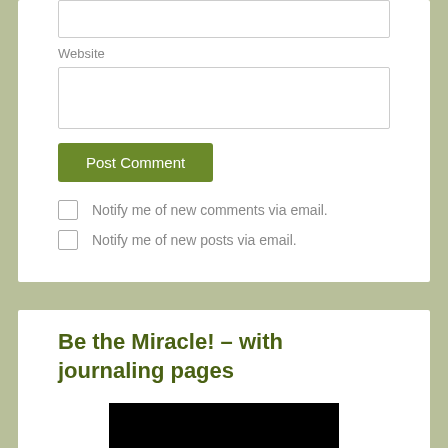Website
[Figure (screenshot): Website text input field (empty)]
[Figure (screenshot): Post Comment button (green)]
Notify me of new comments via email.
Notify me of new posts via email.
Be the Miracle! – with journaling pages
[Figure (photo): Black image/photo placeholder]